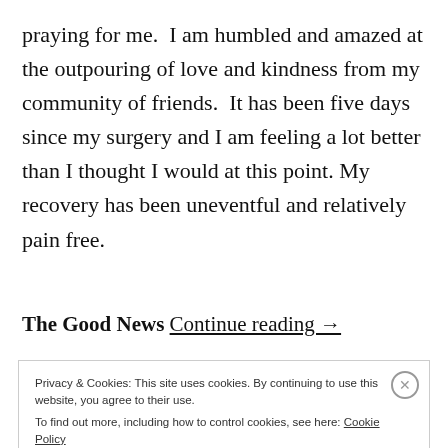praying for me.  I am humbled and amazed at the outpouring of love and kindness from my community of friends.  It has been five days since my surgery and I am feeling a lot better than I thought I would at this point. My recovery has been uneventful and relatively pain free.
The Good News Continue reading →
Privacy & Cookies: This site uses cookies. By continuing to use this website, you agree to their use.
To find out more, including how to control cookies, see here: Cookie Policy
Close and accept